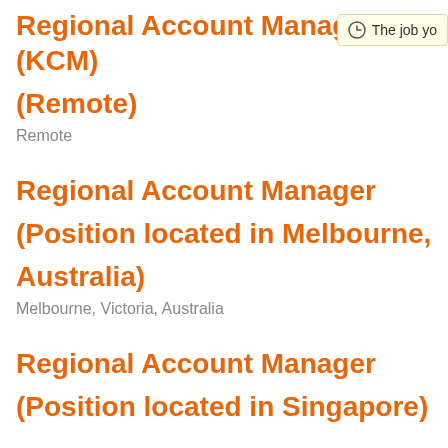Regional Account Manager (KCM) (Remote)
Remote
Regional Account Manager (Position located in Melbourne, Australia)
Melbourne, Victoria, Australia
Regional Account Manager (Position located in Singapore)